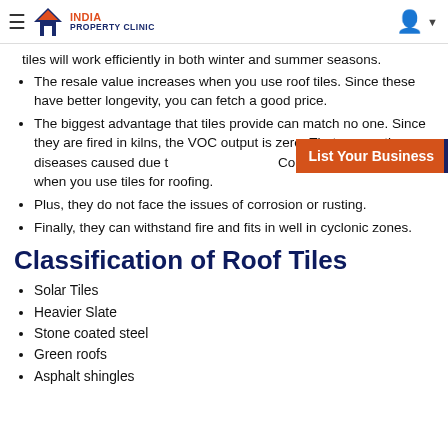India Property Clinic
tiles will work efficiently in both winter and summer seasons.
The resale value increases when you use roof tiles. Since these have better longevity, you can fetch a good price.
The biggest advantage that tiles provide can match no one. Since they are fired in kilns, the VOC output is zero. That means the diseases caused due to Volatile Organic Compounds are less when you use tiles for roofing.
Plus, they do not face the issues of corrosion or rusting.
Finally, they can withstand fire and fits in well in cyclonic zones.
Classification of Roof Tiles
Solar Tiles
Heavier Slate
Stone coated steel
Green roofs
Asphalt shingles